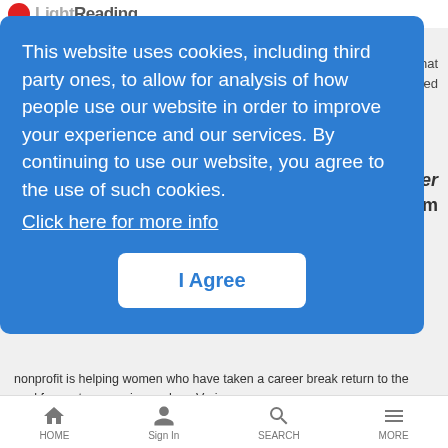Light Reading
nonprofit is helping women who have taken a career break return to the workforce at companies such as Verizon.
MORE
This website uses cookies, including third party ones, to allow for analysis of how people use our website in order to improve your experience and our services. By continuing to use our website, you agree to the use of such cookies. Click here for more info
I Agree
y that ated
er m
A high-performance network with lower
HOME  Sign In  SEARCH  MORE